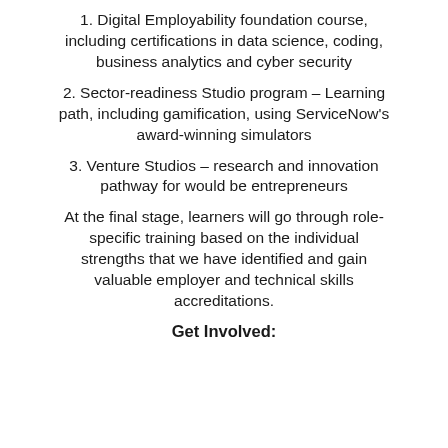1. Digital Employability foundation course, including certifications in data science, coding, business analytics and cyber security
2. Sector-readiness Studio program – Learning path, including gamification, using ServiceNow's award-winning simulators
3. Venture Studios – research and innovation pathway for would be entrepreneurs
At the final stage, learners will go through role-specific training based on the individual strengths that we have identified and gain valuable employer and technical skills accreditations.
Get Involved: